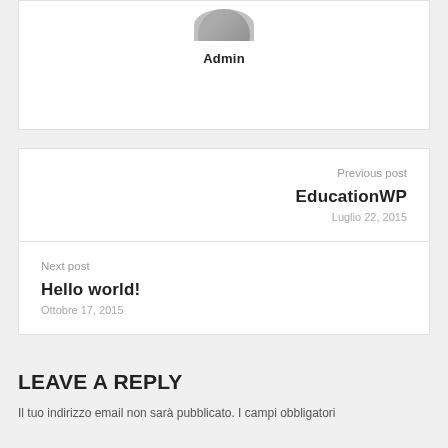Admin
Previous post
EducationWP
Luglio 22, 2015
Next post
Hello world!
Ottobre 17, 2015
LEAVE A REPLY
Il tuo indirizzo email non sarà pubblicato. I campi obbligatori